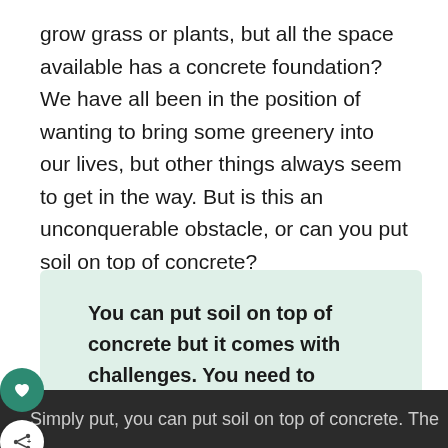grow grass or plants, but all the space available has a concrete foundation? We have all been in the position of wanting to bring some greenery into our lives, but other things always seem to get in the way. But is this an unconquerable obstacle, or can you put soil on top of concrete?
You can put soil on top of concrete but it comes with challenges. You need to consider soil drainage, oxygen levels, leaching chemicals, and general maintenance. Topsoil will require a minimum depth of 4 to 6 inches.
Simply put, you can put soil on top of concrete. The